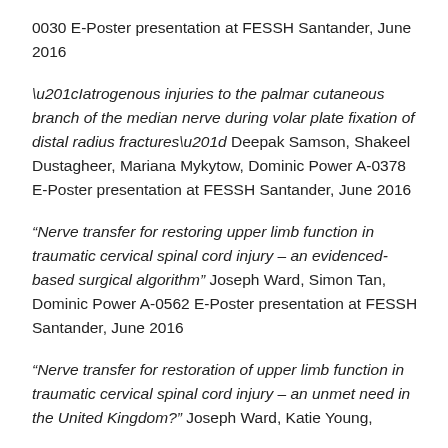0030 E-Poster presentation at FESSH Santander, June 2016
“Iatrogenous injuries to the palmar cutaneous branch of the median nerve during volar plate fixation of distal radius fractures” Deepak Samson, Shakeel Dustagheer, Mariana Mykytow, Dominic Power A-0378 E-Poster presentation at FESSH Santander, June 2016
“Nerve transfer for restoring upper limb function in traumatic cervical spinal cord injury – an evidenced-based surgical algorithm” Joseph Ward, Simon Tan, Dominic Power A-0562 E-Poster presentation at FESSH Santander, June 2016
“Nerve transfer for restoration of upper limb function in traumatic cervical spinal cord injury – an unmet need in the United Kingdom?” Joseph Ward, Katie Young,